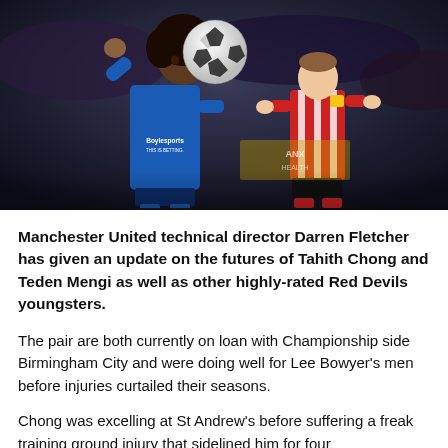[Figure (photo): Football action photo showing a Birmingham City player in blue Boylesports sponsored jersey controlling a ball, with a Sheffield United player in red and white stripes in the background.]
Manchester United technical director Darren Fletcher has given an update on the futures of Tahith Chong and Teden Mengi as well as other highly-rated Red Devils youngsters.
The pair are both currently on loan with Championship side Birmingham City and were doing well for Lee Bowyer's men before injuries curtailed their seasons.
Chong was excelling at St Andrew's before suffering a freak training ground injury that sidelined him for four